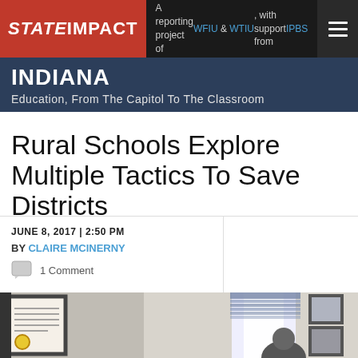StateImpact — A reporting project of WFIU & WTIU, with support from IPBS
INDIANA — Education, From The Capitol To The Classroom
Rural Schools Explore Multiple Tactics To Save Districts
JUNE 8, 2017 | 2:50 PM
BY CLAIRE MCINERNY
1 Comment
[Figure (photo): Interior room photo showing framed documents/diplomas on a wall to the left, a bright window with blinds in the center-background, and framed pictures on the right wall. A partial view of a person is visible at the bottom right.]